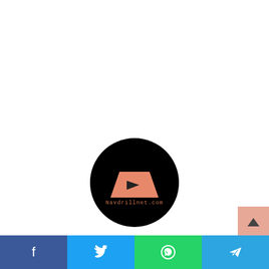[Figure (logo): Navdrill logo: black circle with orange/salmon trapezoid shape containing a play button triangle, and text 'Navdrillnet.com' below in orange monospace font]
Navdrill
[Figure (other): Home icon (house symbol)]
[Figure (other): Scroll-up button (salmon/peach colored square with upward arrow, bottom right)]
Facebook | Twitter | WhatsApp | Telegram social share bar